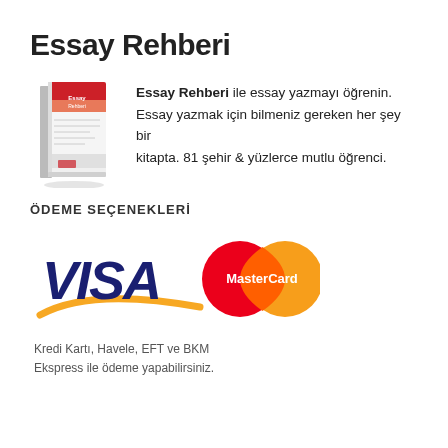Essay Rehberi
[Figure (photo): Book cover image of 'Essay Rehberi' - a white book with red spine and decorative stripes]
Essay Rehberi ile essay yazmayı öğrenin. Essay yazmak için bilmeniz gereken her şey bir kitapta. 81 şehir & yüzlerce mutlu öğrenci.
ÖDEME SEÇENEKLERİ
[Figure (logo): VISA and MasterCard payment logos side by side]
Kredi Kartı, Havele, EFT ve BKM Ekspress ile ödeme yapabilirsiniz.